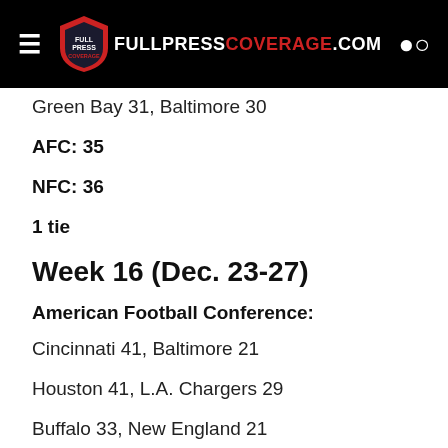FULLPRESS COVERAGE.COM
Green Bay 31, Baltimore 30
AFC: 35
NFC: 36
1 tie
Week 16 (Dec. 23-27)
American Football Conference:
Cincinnati 41, Baltimore 21
Houston 41, L.A. Chargers 29
Buffalo 33, New England 21